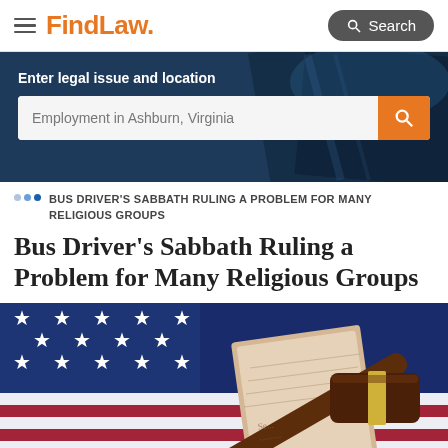FindLaw. Search
[Figure (screenshot): Hero banner with dark blue background showing scales of justice, with text 'Enter legal issue and location' and a search bar with placeholder 'Employment in Ashburn, Virginia']
BUS DRIVER'S SABBATH RULING A PROBLEM FOR MANY RELIGIOUS GROUPS
Bus Driver's Sabbath Ruling a Problem for Many Religious Groups
[Figure (photo): American flag with stars visible, and a brown wooden gavel with gold band resting on what appears to be a document or parchment]